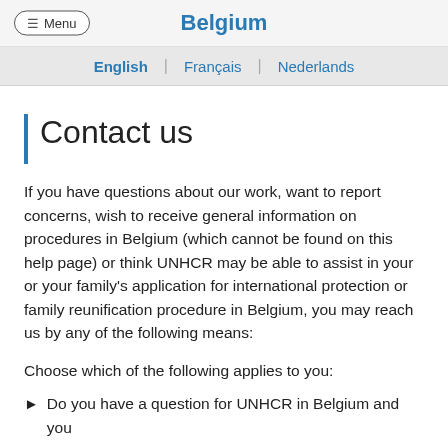Belgium
English | Français | Nederlands
Contact us
If you have questions about our work, want to report concerns, wish to receive general information on procedures in Belgium (which cannot be found on this help page) or think UNHCR may be able to assist in your or your family's application for international protection or family reunification procedure in Belgium, you may reach us by any of the following means:
Choose which of the following applies to you:
Do you have a question for UNHCR in Belgium and you